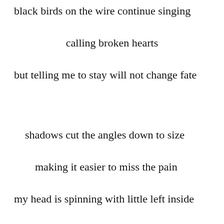black birds on the wire continue singing
calling broken hearts
but telling me to stay will not change fate
shadows cut the angles down to size
making it easier to miss the pain
my head is spinning with little left inside